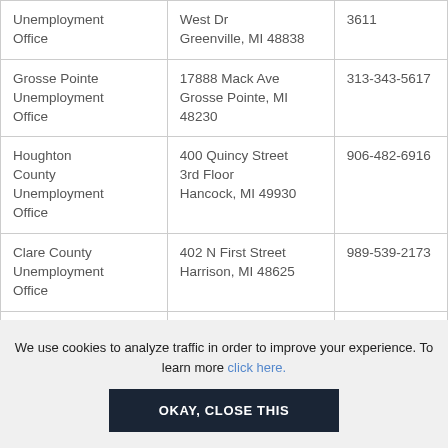| Office | Address | Phone |
| --- | --- | --- |
| Unemployment Office | West Dr
Greenville, MI 48838 | 3611 |
| Grosse Pointe Unemployment Office | 17888 Mack Ave
Grosse Pointe, MI 48230 | 313-343-5617 |
| Houghton County Unemployment Office | 400 Quincy Street
3rd Floor
Hancock, MI 49930 | 906-482-6916 |
| Clare County Unemployment Office | 402 N First Street
Harrison, MI 48625 | 989-539-2173 |
| Unemployment ... | 130 E. State St. | 616-649-... |
We use cookies to analyze traffic in order to improve your experience. To learn more click here.
OKAY, CLOSE THIS